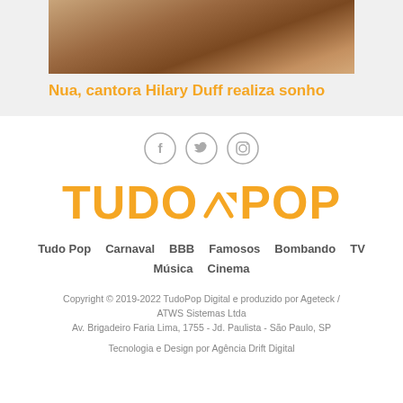[Figure (photo): Partial photo of a person lying down, warm skin tones, cropped at top]
Nua, cantora Hilary Duff realiza sonho
[Figure (illustration): Three circular social media icons: Facebook (f), Twitter (bird), Instagram (camera)]
[Figure (logo): TudoPop logo in bold orange text with an upward arrow between TUDO and POP]
Tudo Pop  Carnaval  BBB  Famosos  Bombando  TV  Música  Cinema
Copyright © 2019-2022 TudoPop Digital e produzido por Ageteck / ATWS Sistemas Ltda
Av. Brigadeiro Faria Lima, 1755 - Jd. Paulista - São Paulo, SP
Tecnologia e Design por Agência Drift Digital